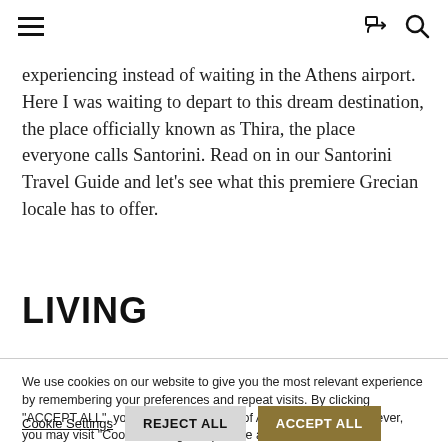☰ [share icon] [search icon]
experiencing instead of waiting in the Athens airport. Here I was waiting to depart to this dream destination, the place officially known as Thira, the place everyone calls Santorini. Read on in our Santorini Travel Guide and let's see what this premiere Grecian locale has to offer.
LIVING
We use cookies on our website to give you the most relevant experience by remembering your preferences and repeat visits. By clicking "ACCEPT ALL", you consent to the use of ALL the cookies. However, you may visit "Cookie Settings" to provide a controlled consent.
Cookie Settings   REJECT ALL   ACCEPT ALL